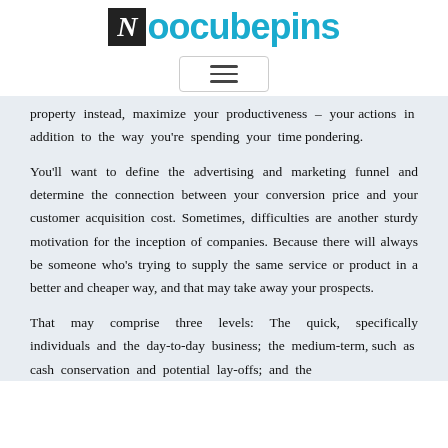Noocubepins
[Figure (other): Hamburger menu icon button with three horizontal lines inside a rounded rectangle border]
property instead, maximize your productiveness – your actions in addition to the way you're spending your time pondering.
You'll want to define the advertising and marketing funnel and determine the connection between your conversion price and your customer acquisition cost. Sometimes, difficulties are another sturdy motivation for the inception of companies. Because there will always be someone who's trying to supply the same service or product in a better and cheaper way, and that may take away your prospects.
That may comprise three levels: The quick, specifically individuals and the day-to-day business; the medium-term, such as cash conservation and potential lay-offs; and the